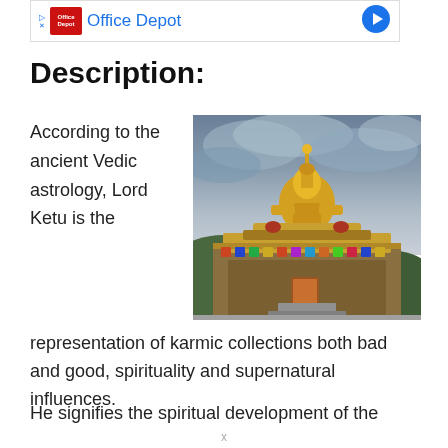[Figure (screenshot): Office Depot advertisement banner with red logo and blue navigation arrow icon]
Description:
According to the ancient Vedic astrology, Lord Ketu is the representation of karmic collections both bad and good, spirituality and supernatural influences.
[Figure (photo): A large ornate Buddhist/Hindu temple statue of Lord Ketu (golden figure) atop a multi-tiered decorated temple structure against a dramatic cloudy sky, with green hills in the background]
He signifies the spiritual development of the
x